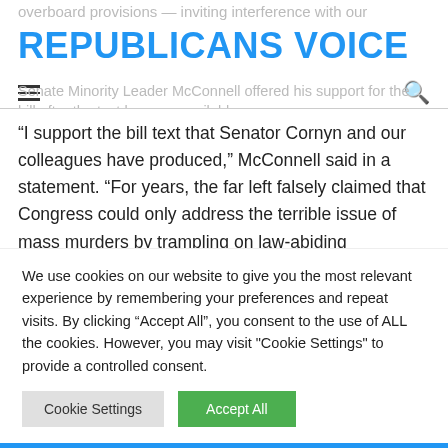REPUBLICANS VOICE
overboard provisions — inviting interference with our
Senate Minority Leader McConnell offered his support for the bill after the text became available.
“I support the bill text that Senator Cornyn and our colleagues have produced,” McConnell said in a statement. “For years, the far left falsely claimed that Congress could only address the terrible issue of mass murders by trampling on law-abiding
We use cookies on our website to give you the most relevant experience by remembering your preferences and repeat visits. By clicking “Accept All”, you consent to the use of ALL the cookies. However, you may visit "Cookie Settings" to provide a controlled consent.